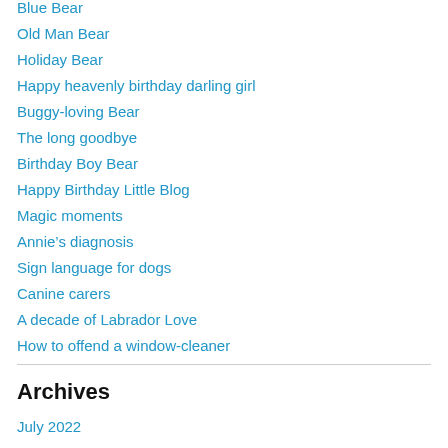Blue Bear
Old Man Bear
Holiday Bear
Happy heavenly birthday darling girl
Buggy-loving Bear
The long goodbye
Birthday Boy Bear
Happy Birthday Little Blog
Magic moments
Annie’s diagnosis
Sign language for dogs
Canine carers
A decade of Labrador Love
How to offend a window-cleaner
Archives
July 2022
May 2022